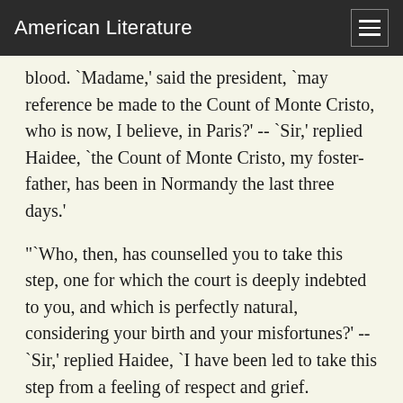American Literature
blood. `Madame,' said the president, `may reference be made to the Count of Monte Cristo, who is now, I believe, in Paris?' -- `Sir,' replied Haidee, `the Count of Monte Cristo, my foster-father, has been in Normandy the last three days.'
"`Who, then, has counselled you to take this step, one for which the court is deeply indebted to you, and which is perfectly natural, considering your birth and your misfortunes?' -- `Sir,' replied Haidee, `I have been led to take this step from a feeling of respect and grief. Although a Christian, may God forgive me, I have always sought to revenge my illustrious father. Since I set my foot in France, and